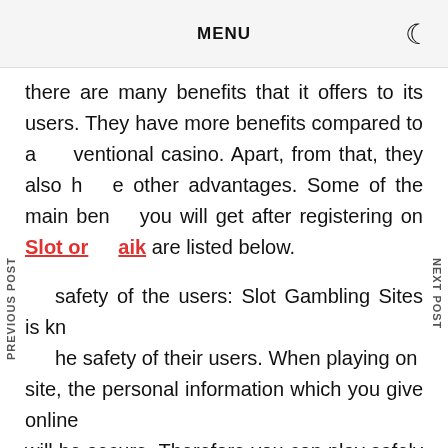MENU
there are many benefits that it offers to its users. They have more benefits compared to a ventional casino. Apart, from that, they also have other advantages. Some of the main benefits you will get after registering on Slot or aik are listed below.
safety of the users: Slot Gambling Sites is known for the safety of their users. When playing on the site, the personal information which you give online will be secure. Therefore you can play safely without having to worry about your safety issues. Moreover, there will never be any type of scam. These are some